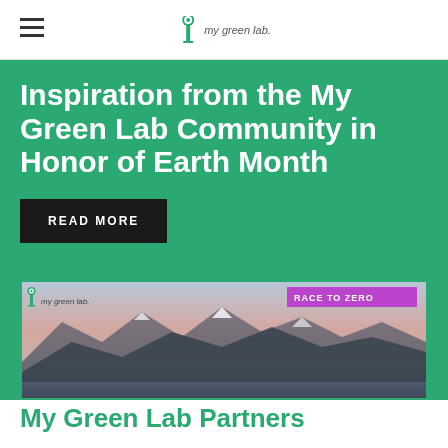my green lab
Inspiration from the My Green Lab Community in Honor of Earth Month
READ MORE
[Figure (photo): Mountain landscape with lake and forest at dusk, with My Green Lab logo and 'Race to Zero' text overlay]
My Green Lab Partners